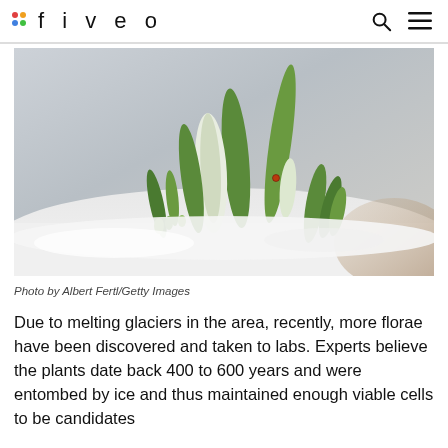fiveo
[Figure (photo): Close-up photo of green plant shoots (possibly snowdrops or tulips) emerging from snow, with a soft blurred background. Photo by Albert Fertl/Getty Images.]
Photo by Albert Fertl/Getty Images
Due to melting glaciers in the area, recently, more florae have been discovered and taken to labs. Experts believe the plants date back 400 to 600 years and were entombed by ice and thus maintained enough viable cells to be candidates